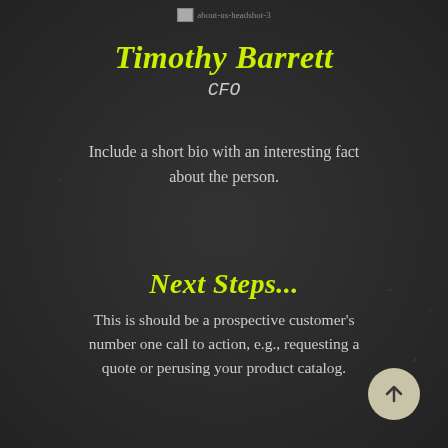[Figure (photo): Headshot placeholder image labeled 'about-us-headshot-3']
Timothy Barrett
CFO
Include a short bio with an interesting fact about the person.
Next Steps...
This is should be a prospective customer's number one call to action, e.g., requesting a quote or perusing your product catalog.